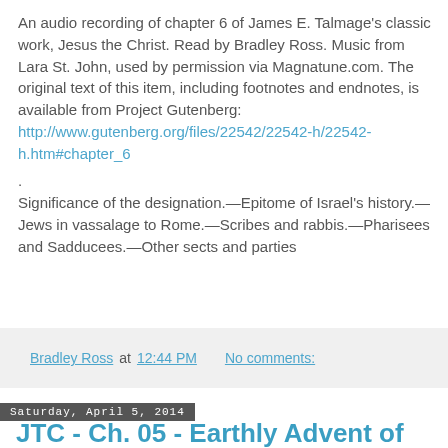An audio recording of chapter 6 of James E. Talmage's classic work, Jesus the Christ. Read by Bradley Ross. Music from Lara St. John, used by permission via Magnatune.com. The original text of this item, including footnotes and endnotes, is available from Project Gutenberg: http://www.gutenberg.org/files/22542/22542-h/22542-h.htm#chapter_6
.
Significance of the designation.—Epitome of Israel's history.—Jews in vassalage to Rome.—Scribes and rabbis.—Pharisees and Sadducees.—Other sects and parties
Bradley Ross at 12:44 PM   No comments:
Saturday, April 5, 2014
JTC - Ch. 05 - Earthly Advent of the Christ Predicted
An audio recording of chapter 5 of James E. Talmage's